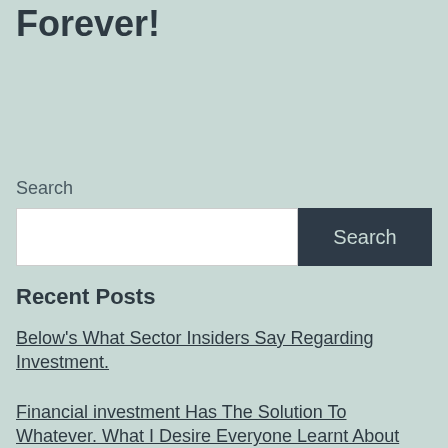Forever!
Search
Recent Posts
Below's What Sector Insiders Say Regarding Investment.
Financial investment Has The Solution To Whatever. What I Desire Everyone Learnt About Learning To